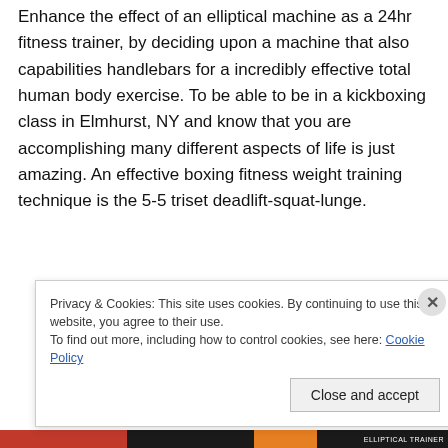Enhance the effect of an elliptical machine as a 24hr fitness trainer, by deciding upon a machine that also capabilities handlebars for a incredibly effective total human body exercise. To be able to be in a kickboxing class in Elmhurst, NY and know that you are accomplishing many different aspects of life is just amazing. An effective boxing fitness weight training technique is the 5-5 triset deadlift-squat-lunge.
Privacy & Cookies: This site uses cookies. By continuing to use this website, you agree to their use. To find out more, including how to control cookies, see here: Cookie Policy